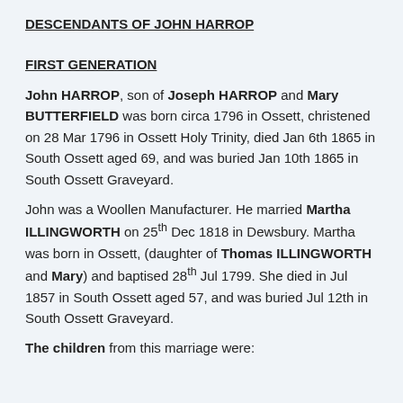DESCENDANTS OF JOHN HARROP
FIRST GENERATION
John HARROP, son of Joseph HARROP and Mary BUTTERFIELD was born circa 1796 in Ossett, christened on 28 Mar 1796 in Ossett Holy Trinity, died Jan 6th 1865 in South Ossett aged 69, and was buried Jan 10th 1865 in South Ossett Graveyard.
John was a Woollen Manufacturer. He married Martha ILLINGWORTH on 25th Dec 1818 in Dewsbury. Martha was born in Ossett, (daughter of Thomas ILLINGWORTH and Mary) and baptised 28th Jul 1799. She died in Jul 1857 in South Ossett aged 57, and was buried Jul 12th in South Ossett Graveyard.
The children from this marriage were: